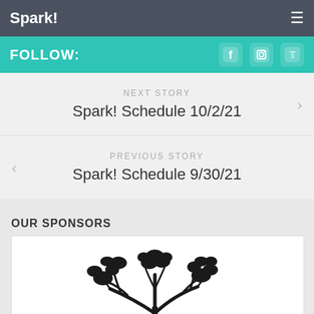Spark!
FOLLOW:
NEXT STORY
Spark! Schedule 10/2/21
PREVIOUS STORY
Spark! Schedule 9/30/21
OUR SPONSORS
[Figure (logo): Recess Coffee logo: black rectangular sign with distressed white text reading RECESS COFFEE, with a tree illustration above]